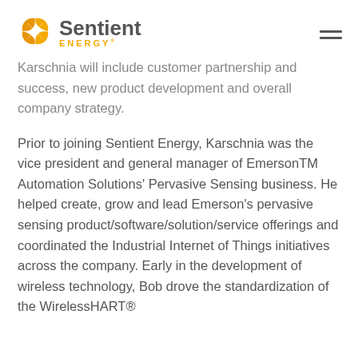Sentient ENERGY® [logo with hamburger menu]
Karschnia will include customer partnership and success, new product development and overall company strategy.
Prior to joining Sentient Energy, Karschnia was the vice president and general manager of EmersonTM Automation Solutions' Pervasive Sensing business. He helped create, grow and lead Emerson's pervasive sensing product/software/solution/service offerings and coordinated the Industrial Internet of Things initiatives across the company. Early in the development of wireless technology, Bob drove the standardization of the WirelessHART®